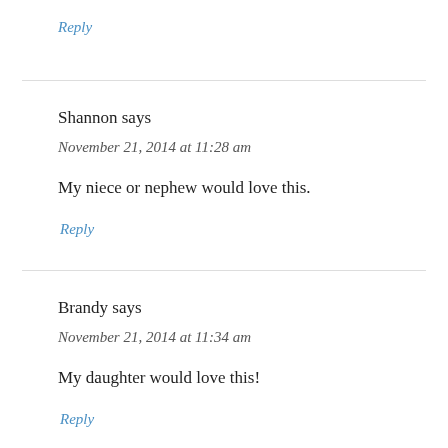Reply
Shannon says
November 21, 2014 at 11:28 am
My niece or nephew would love this.
Reply
Brandy says
November 21, 2014 at 11:34 am
My daughter would love this!
Reply